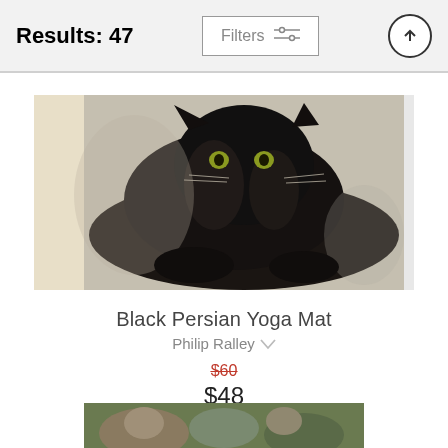Results: 47
Filters
[Figure (photo): Painting of a black Persian cat lying down, shown in a rectangular yoga mat product image format with a narrow pale strip on the left side.]
Black Persian Yoga Mat
Philip Ralley
$60 (strikethrough) $48
[Figure (photo): Partially visible painting of cats at the bottom of the page.]